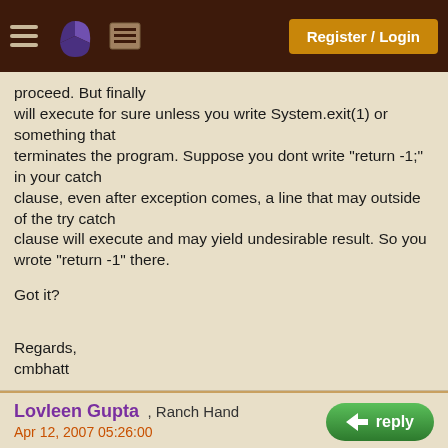Register / Login
proceed. But finally will execute for sure unless you write System.exit(1) or something that terminates the program. Suppose you dont write "return -1;" in your catch clause, even after exception comes, a line that may outside of the try catch clause will execute and may yield undesirable result. So you wrote "return -1" there.

Got it?

Regards,
cmbhatt
Lovleen Gupta , Ranch Hand
Apr 12, 2007 05:26:00
[Figure (other): reply button (green rounded rectangle with arrow icon and text 'reply')]
[Figure (other): +Pie button (brown rounded rectangle with text '+Pie')]